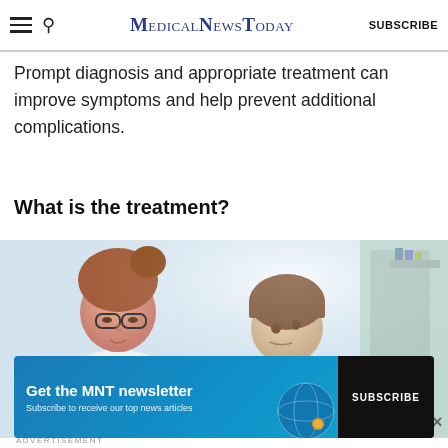MedicalNewsToday SUBSCRIBE
Prompt diagnosis and appropriate treatment can improve symptoms and help prevent additional complications.
What is the treatment?
[Figure (photo): A woman with red hair in a bun and glasses looks down at a young child with brown hair, in a clinical or office setting.]
ADVERTISEMENT
Get the MNT newsletter Subscribe to receive our top news articles SUBSCRIBE